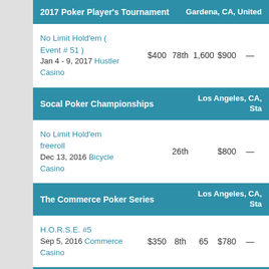| Tournament / Event | Buy-in | Place | Entries | Winnings | Points |
| --- | --- | --- | --- | --- | --- |
| 2017 Poker Player's Tournament | Gardena, CA, United States |  |  |  |  |  |
| No Limit Hold'em (Event # 51) Jan 4 - 9, 2017 Hustler Casino | $400 | 78th | 1,600 | $900 | — |
| Socal Poker Championships | Los Angeles, CA, United States |  |  |  |  |  |
| No Limit Hold'em freeroll Dec 13, 2016 Bicycle Casino |  | 26th |  | $800 | — |
| The Commerce Poker Series | Los Angeles, CA, United States |  |  |  |  |  |
| H.O.R.S.E. #5 Sep 5, 2016 Commerce Casino | $350 | 8th | 65 | $780 | — |
| World Poker Tour - WPT Legends Of Poker | Los Angeles, CA, United States |  |  |  |  |  |
| Limit Hold'em (Event #19) |  |  |  |  |  |